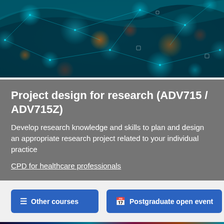[Figure (photo): Abstract digital network visualization with teal/cyan glowing bokeh circles and geometric connection lines on a dark background with orange/red bokeh accents]
Project design for research (ADV715 / ADV715Z)
Develop research knowledge and skills to plan and design an appropriate research project related to your individual practice
CPD for healthcare professionals
Other courses
Postgraduate open event
[Figure (photo): Abstract colorful digital/tech background with multicolored light streaks and circuit-like patterns in teal, blue, pink, and orange tones]